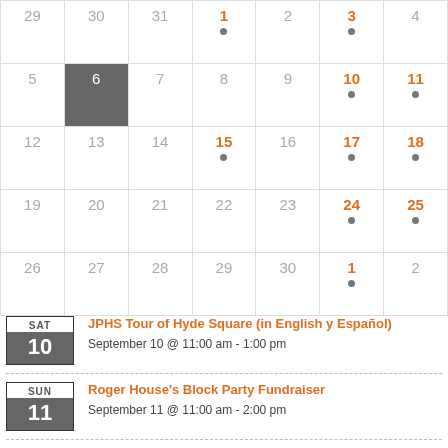| Sun | Mon | Tue | Wed | Thu | Fri | Sat |
| --- | --- | --- | --- | --- | --- | --- |
| 29 | 30 | 31 | 1 | 2 | 3 | 4 |
| 5 | 6 | 7 | 8 | 9 | 10 | 11 |
| 12 | 13 | 14 | 15 | 16 | 17 | 18 |
| 19 | 20 | 21 | 22 | 23 | 24 | 25 |
| 26 | 27 | 28 | 29 | 30 | 1 | 2 |
SAT 10 — JPHS Tour of Hyde Square (in English y Español) — September 10 @ 11:00 am - 1:00 pm
SUN 11 — Roger House's Block Party Fundraiser — September 11 @ 11:00 am - 2:00 pm
SUN — Eliot Schoolyard Concert: John Williams Jam Band